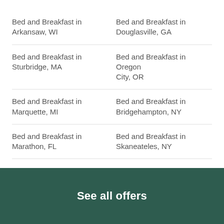Bed and Breakfast in Arkansaw, WI
Bed and Breakfast in Douglasville, GA
Bed and Breakfast in Sturbridge, MA
Bed and Breakfast in Oregon City, OR
Bed and Breakfast in Marquette, MI
Bed and Breakfast in Bridgehampton, NY
Bed and Breakfast in Marathon, FL
Bed and Breakfast in Skaneateles, NY
Bed and Breakfast in Norwich, NY
Bed and Breakfast in Tishomingo, OK
Bed and Breakfast in Foley, AL
Bed and Breakfast in Monteagle, TN
Bed and Breakfast in Montrose, PA
Bed and Breakfast in Nova, KS
See all offers